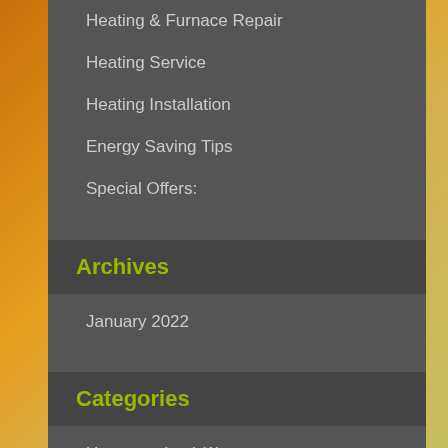Heating & Furnace Repair
Heating Service
Heating Installation
Energy Saving Tips
Special Offers:
Archives
January 2022
Categories
Uncategorized (1)